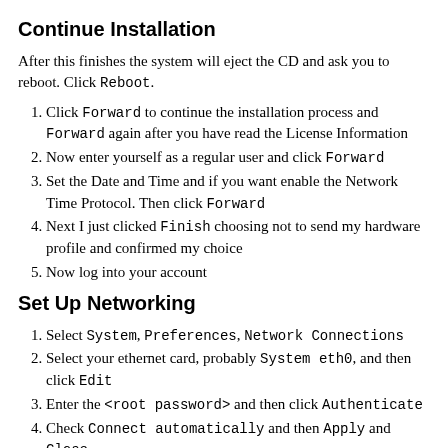Continue Installation
After this finishes the system will eject the CD and ask you to reboot. Click Reboot.
Click Forward to continue the installation process and Forward again after you have read the License Information
Now enter yourself as a regular user and click Forward
Set the Date and Time and if you want enable the Network Time Protocol. Then click Forward
Next I just clicked Finish choosing not to send my hardware profile and confirmed my choice
Now log into your account
Set Up Networking
Select System, Preferences, Network Connections
Select your ethernet card, probably System eth0, and then click Edit
Enter the <root password> and then click Authenticate
Check Connect automatically and then Apply and Close
If your network connection is configured automatically by DHCP, that's all you have to do. If this is true, you can skip the rest of this